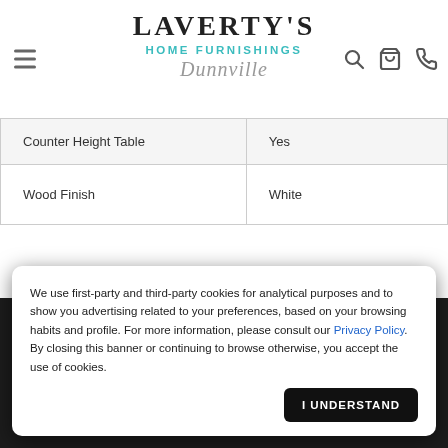LAVERTY'S HOME FURNISHINGS Dunnville
| Counter Height Table | Yes |
| Wood Finish | White |
We use first-party and third-party cookies for analytical purposes and to show you advertising related to your preferences, based on your browsing habits and profile. For more information, please consult our Privacy Policy. By closing this banner or continuing to browse otherwise, you accept the use of cookies.
I UNDERSTAND